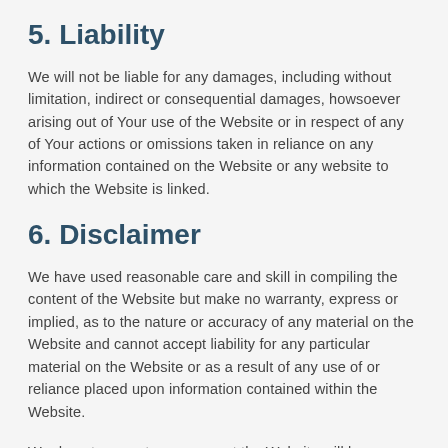5. Liability
We will not be liable for any damages, including without limitation, indirect or consequential damages, howsoever arising out of Your use of the Website or in respect of any of Your actions or omissions taken in reliance on any information contained on the Website or any website to which the Website is linked.
6. Disclaimer
We have used reasonable care and skill in compiling the content of the Website but make no warranty, express or implied, as to the nature or accuracy of any material on the Website and cannot accept liability for any particular material on the Website or as a result of any use of or reliance placed upon information contained within the Website.
We do not guarantee or warrant the Website will be